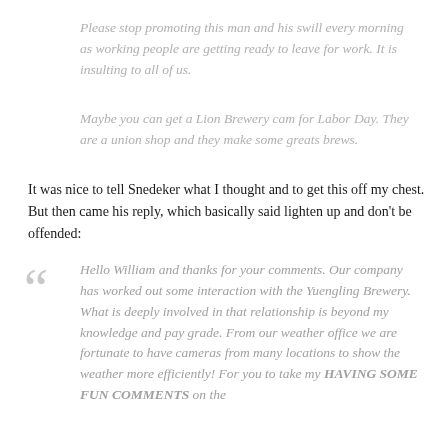Please stop promoting this man and his swill every morning as working people are getting ready to leave for work. It is insulting to all of us.
Maybe you can get a Lion Brewery cam for Labor Day. They are a union shop and they make some greats brews.
It was nice to tell Snedeker what I thought and to get this off my chest. But then came his reply, which basically said lighten up and don't be offended:
Hello William and thanks for your comments. Our company has worked out some interaction with the Yuengling Brewery. What is deeply involved in that relationship is beyond my knowledge and pay grade. From our weather office we are fortunate to have cameras from many locations to show the weather more efficiently! For you to take my HAVING SOME FUN COMMENTS on the